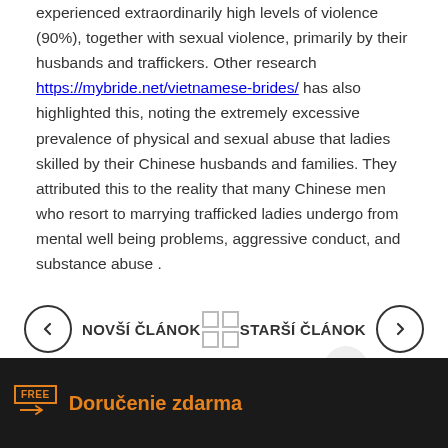experienced extraordinarily high levels of violence (90%), together with sexual violence, primarily by their husbands and traffickers. Other research https://mybride.net/vietnamese-brides/ has also highlighted this, noting the extremely excessive prevalence of physical and sexual abuse that ladies skilled by their Chinese husbands and families. They attributed this to the reality that many Chinese men who resort to marrying trafficked ladies undergo from mental well being problems, aggressive conduct, and substance abuse .
NOVŠÍ ČLÁNOK | [grid] | STARŠÍ ČLÁNOK
Doručenie zdarma